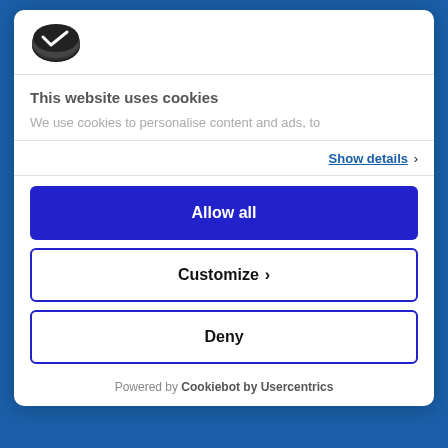[Figure (logo): Cookiebot logo — dark oval cookie-shaped icon]
This website uses cookies
We use cookies to personalise content and ads, to
Show details ›
Allow all
Customize ›
Deny
Powered by Cookiebot by Usercentrics